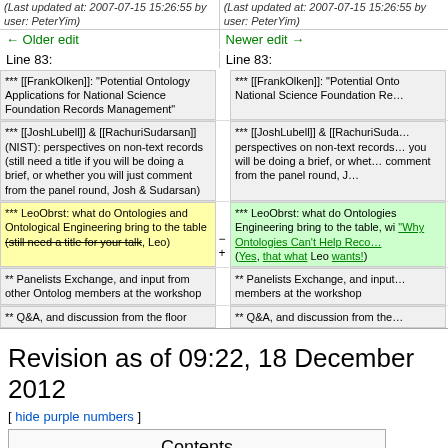(Last updated at: 2007-07-15 15:26:55 by user: PeterYim)
← Older edit
Line 83:
*** [[FrankOlken]]: "Potential Ontology Applications for National Science Foundation Records Management"
*** [[JoshLubell]] & [[RachuriSudarsan]] (NIST): perspectives on non-text records  (still need a title if you will be doing a brief, or whether you will just comment from the panel round, Josh & Sudarsan)
*** LeoObrst: what do Ontologies and Ontological Engineering bring to the table (still need a title for your talk, Leo)
** Panelists Exchange, and input from other Ontolog members at the workshop
** Q&A, and discussion from the floor
(Last updated at: 2007-07-15 by user: PeterYim)
Newer edit →
Line 83:
*** [[FrankOlken]]: "Potential Ontology Applications for National Science Foundation Re...
*** [[JoshLubell]] & [[RachuriSuda... perspectives on non-text records... comment from the panel round, J...
*** LeoObrst: what do Ontologies Engineering bring to the table, wi "Why Ontologies Can't Help Reco... (Yes, that what Leo wants!)
** Panelists Exchange, and input... members at the workshop
** Q&A, and discussion from the...
Revision as of 09:22, 18 December 2012
[ hide purple numbers ]
Contents